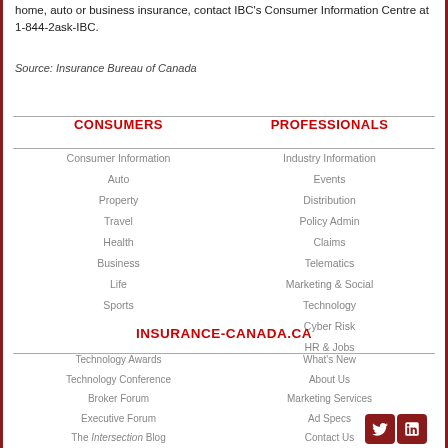home, auto or business insurance, contact IBC's Consumer Information Centre at 1-844-2ask-IBC.
Source: Insurance Bureau of Canada
CONSUMERS
PROFESSIONALS
Consumer Information
Auto
Property
Travel
Health
Business
Life
Sports
Industry Information
Events
Distribution
Policy Admin
Claims
Telematics
Marketing & Social
Technology
Cyber Risk
HR & Jobs
INSURANCE-CANADA.CA
Technology Awards
Technology Conference
Broker Forum
Executive Forum
The Intersection Blog
The Chronicle Newsletter
Surveys
Webinars
What's New
About Us
Marketing Services
Ad Specs
Contact Us
Privacy
Site Map
[Figure (logo): Twitter and LinkedIn social media icons in dark red]